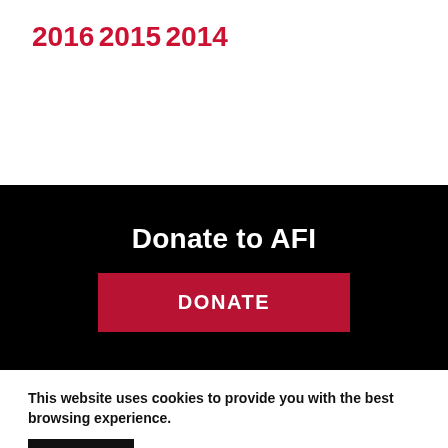2016
2015
2014
Donate to AFI
DONATE
This website uses cookies to provide you with the best browsing experience.
Accept